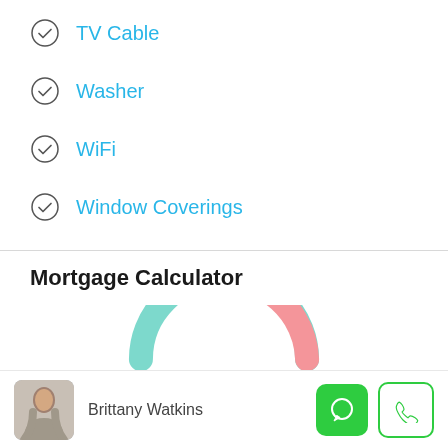TV Cable
Washer
WiFi
Window Coverings
Mortgage Calculator
[Figure (donut-chart): Partial donut chart showing two segments: teal/mint and pink, representing mortgage data breakdown. Only upper half visible.]
Brittany Watkins